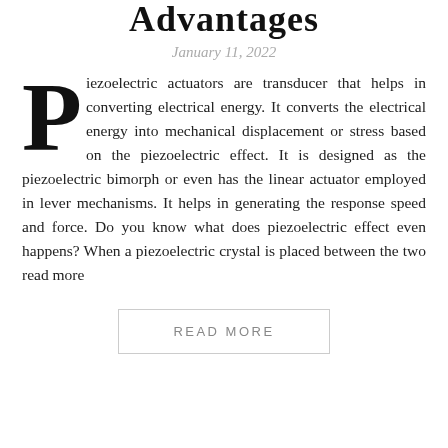Advantages
January 11, 2022
Piezoelectric actuators are transducer that helps in converting electrical energy. It converts the electrical energy into mechanical displacement or stress based on the piezoelectric effect. It is designed as the piezoelectric bimorph or even has the linear actuator employed in lever mechanisms. It helps in generating the response speed and force. Do you know what does piezoelectric effect even happens? When a piezoelectric crystal is placed between the two read more
READ MORE